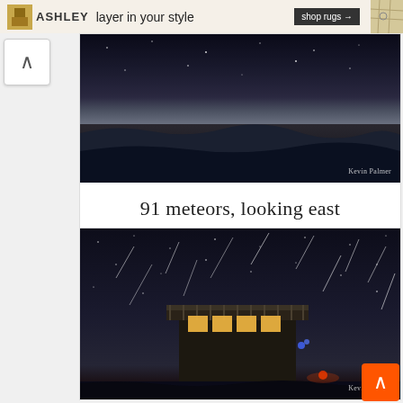[Figure (photo): Ashley Furniture advertisement banner: Ashley logo, text 'layer in your style', 'shop rugs →' button, map texture on right]
[Figure (photo): Night sky photo showing dark ocean/ice landscape with meteor streaks, watermark 'Kevin Palmer']
91 meteors, looking east
[Figure (photo): Night sky photo with meteor shower streaks visible above a lit building/lighthouse near water, with orange moon glow on horizon, watermark 'Kevin Palmer']